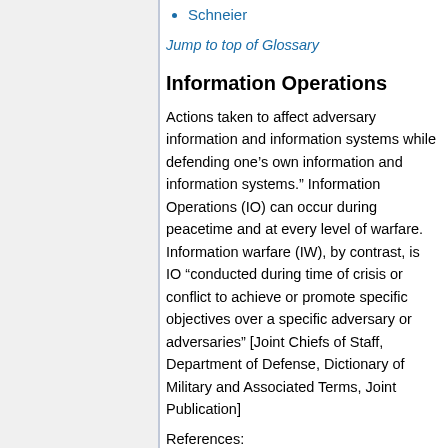Schneier
Jump to top of Glossary
Information Operations
Actions taken to affect adversary information and information systems while defending one’s own information and information systems.” Information Operations (IO) can occur during peacetime and at every level of warfare. Information warfare (IW), by contrast, is IO “conducted during time of crisis or conflict to achieve or promote specific objectives over a specific adversary or adversaries” [Joint Chiefs of Staff, Department of Defense, Dictionary of Military and Associated Terms, Joint Publication]
References: